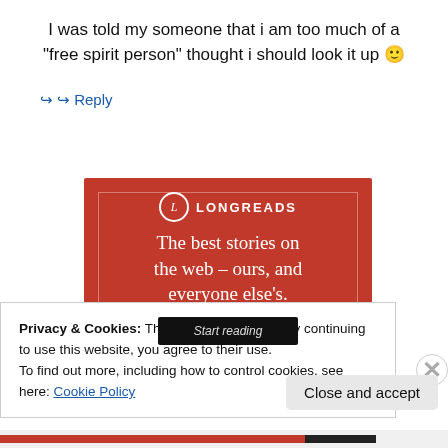I was told my someone that i am too much of a "free spirit person" thought i should look it up 🙂
↪ Reply
[Figure (other): Longreads advertisement on red background with logo, tagline 'The best stories on the web – ours, and everyone else's.' and a 'Start reading' button]
Privacy & Cookies: This site uses cookies. By continuing to use this website, you agree to their use.
To find out more, including how to control cookies, see here: Cookie Policy
Close and accept